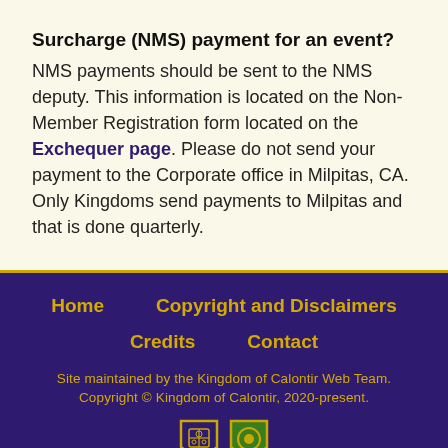Surcharge (NMS) payment for an event? NMS payments should be sent to the NMS deputy. This information is located on the Non-Member Registration form located on the Exchequer page. Please do not send your payment to the Corporate office in Milpitas, CA. Only Kingdoms send payments to Milpitas and that is done quarterly.
Home   Copyright and Disclaimers   Credits   Contact   Site maintained by the Kingdom of Calontir Web Team.   Copyright © Kingdom of Calontir, 2020-present.